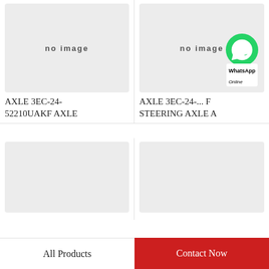[Figure (photo): No image placeholder for product AXLE 3EC-24-52210UAKF AXLE]
AXLE 3EC-24-52210UAKF AXLE
[Figure (photo): No image placeholder for product AXLE 3EC-24... STEERING AXLE A, with WhatsApp Online overlay]
AXLE 3EC-24-... STEERING AXLE A
[Figure (photo): No image placeholder bottom left]
[Figure (photo): No image placeholder bottom right]
All Products
Contact Now